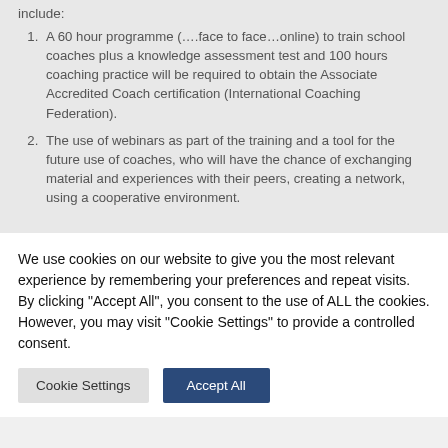include:
A 60 hour programme (….face to face…online) to train school coaches plus a knowledge assessment test and 100 hours coaching practice will be required to obtain the Associate Accredited Coach certification (International Coaching Federation).
The use of webinars as part of the training and a tool for the future use of coaches, who will have the chance of exchanging material and experiences with their peers, creating a network, using a cooperative environment.
We use cookies on our website to give you the most relevant experience by remembering your preferences and repeat visits. By clicking "Accept All", you consent to the use of ALL the cookies. However, you may visit "Cookie Settings" to provide a controlled consent.
Cookie Settings
Accept All